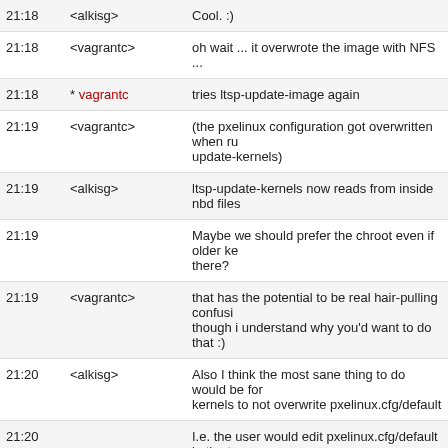| Time | Nick | Message |
| --- | --- | --- |
| 21:18 | <alkisg> | Cool. :) |
| 21:18 | <vagrantc> | oh wait ... it overwrote the image with NFS ... |
| 21:18 | * vagrantc | tries ltsp-update-image again |
| 21:19 | <vagrantc> | (the pxelinux configuration got overwritten when ru... update-kernels) |
| 21:19 | <alkisg> | ltsp-update-kernels now reads from inside nbd files... |
| 21:19 |  | Maybe we should prefer the chroot even if older ke... there? |
| 21:19 | <vagrantc> | that has the potential to be real hair-pulling confusi... though i understand why you'd want to do that :) |
| 21:20 | <alkisg> | Also I think the most sane thing to do would be for... kernels to not overwrite pxelinux.cfg/default |
| 21:20 |  | I.e. the user would edit pxelinux.cfg/default in the t... would be preserved |
| 21:20 | <vagrantc> | there's some sense to that |